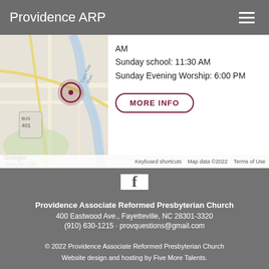Providence ARP
[Figure (map): Google Maps screenshot showing Fayetteville, NC area with a location pin marker and Cape Fear River visible. A white info box overlay shows church service times and a MORE INFO button.]
AM
Sunday school: 11:30 AM
Sunday Evening Worship: 6:00 PM
MORE INFO
[Figure (logo): Facebook icon: white square with a dark letter f]
Providence Associate Reformed Presbyterian Church
400 Eastwood Ave., Fayetteville, NC 28301-3320
(910) 630-1215 · provquestions@gmail.com
© 2022 Providence Associate Reformed Presbyterian Church
Website design and hosting by Five More Talents.